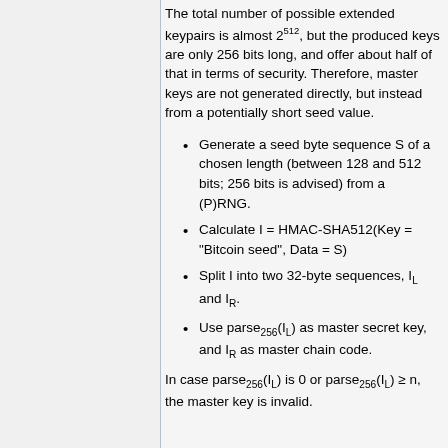The total number of possible extended keypairs is almost 2^512, but the produced keys are only 256 bits long, and offer about half of that in terms of security. Therefore, master keys are not generated directly, but instead from a potentially short seed value.
Generate a seed byte sequence S of a chosen length (between 128 and 512 bits; 256 bits is advised) from a (P)RNG.
Calculate I = HMAC-SHA512(Key = "Bitcoin seed", Data = S)
Split I into two 32-byte sequences, I_L and I_R.
Use parse_256(I_L) as master secret key, and I_R as master chain code.
In case parse_256(I_L) is 0 or parse_256(I_L) ≥ n, the master key is invalid.